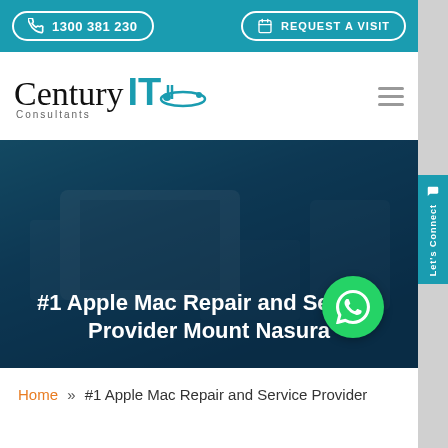1300 381 230 | REQUEST A VISIT
[Figure (logo): Century IT Consultants logo with teal IT branding and arc graphic]
#1 Apple Mac Repair and Service Provider Mount Nasura
Home » #1 Apple Mac Repair and Service Provider